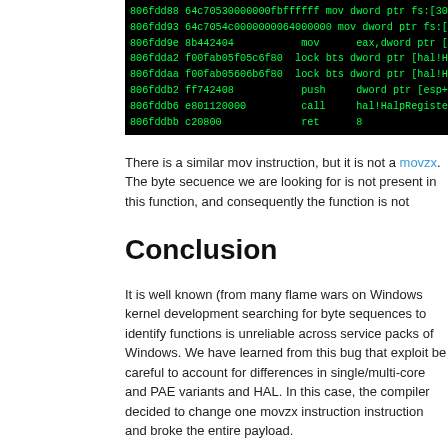[Figure (screenshot): Assembly code disassembly screenshot showing instructions at addresses 806fdd88 through 806fddbb in a black terminal with green monospace text.]
There is a similar mov instruction, but it is not a movzx. The byte sequence we are looking for is not present in this function, and consequently the function is not found.
Conclusion
It is well known (from many flame wars on Windows kernel development forums) that searching for byte sequences to identify functions is unreliable across versions and service packs of Windows. We have learned from this bug that exploit developers must be careful to account for differences in single/multi-core and PAE variants of the kernel and HAL. In this case, the compiler decided to change one movzx instruction to a mov instruction and broke the entire payload.
It is very curious that the KdVersionBlock trick and a byte sequence search are used to find functions in this payload. The Windows 7 payload finds NT and its exports in a much more reliable way, by searching backwards in memory from the KPC_BLOCK to find the PE headers.